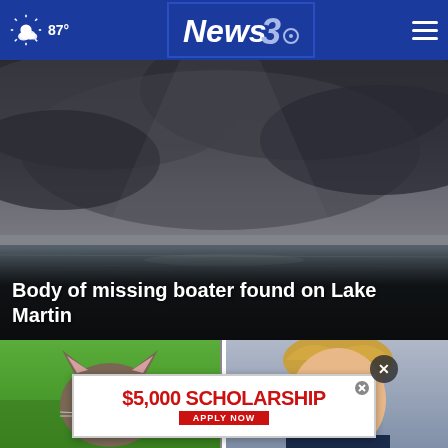87° News 3
[Figure (photo): Stormy dramatic sky over a dark choppy ocean/lake with dark clouds]
Body of missing boater found on Lake Martin
[Figure (photo): Close-up of a cat hiding in green grass]
[Figure (photo): Man with grey/orange hair, appears to be a political figure]
[Figure (photo): Group of students/children with backpacks]
$5,000 SCHOLARSHIP
APPLY NOW